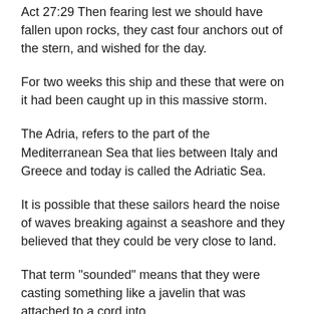Act 27:29 Then fearing lest we should have fallen upon rocks, they cast four anchors out of the stern, and wished for the day.
For two weeks this ship and these that were on it had been caught up in this massive storm.
The Adria, refers to the part of the Mediterranean Sea that lies between Italy and Greece and today is called the Adriatic Sea.
It is possible that these sailors heard the noise of waves breaking against a seashore and they believed that they could be very close to land.
That term "sounded" means that they were casting something like a javelin that was attached to a cord into